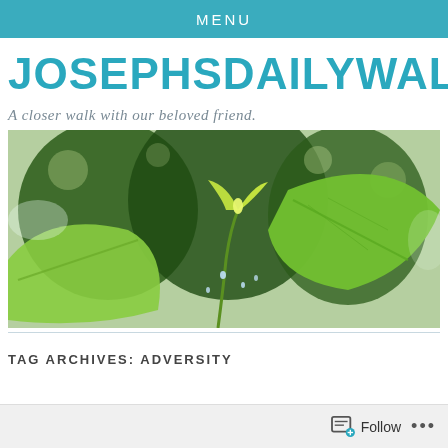MENU
JOSEPHSDAILYWALKWITHJ
A closer walk with our beloved friend.
[Figure (photo): Close-up photo of green plant leaves and young sprout with water droplets, blurred background of trees and bokeh light]
TAG ARCHIVES: ADVERSITY
Follow ...